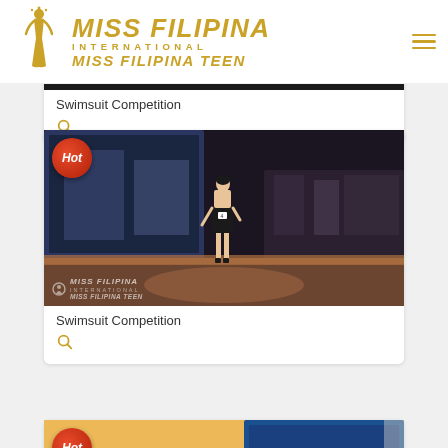[Figure (logo): Miss Filipina International / Miss Filipina Teen logo in gold with a figure silhouette]
[Figure (photo): Swimsuit Competition black banner strip at top of first card]
Swimsuit Competition
[Figure (photo): Swimsuit Competition stage photo with Hot badge overlay and Miss Filipina watermark]
Swimsuit Competition
[Figure (photo): Partially visible third card with Hot badge and stage/pool photo]